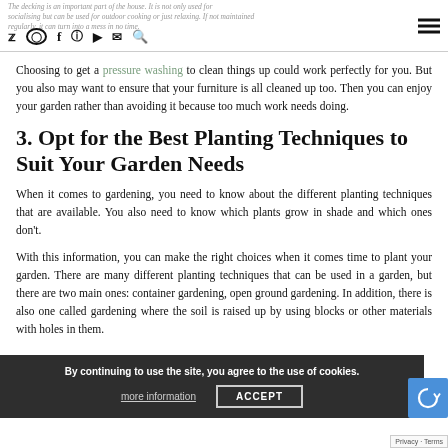The decking is an important part of the house. It is not only used for socialising but can be used for outdoor cooking or just relaxing. If not maintained regularly, it can turn into a mess in no time.
Choosing to get a pressure washing to clean things up could work perfectly for you. But you also may want to ensure that your furniture is all cleaned up too. Then you can enjoy your garden rather than avoiding it because too much work needs doing.
3. Opt for the Best Planting Techniques to Suit Your Garden Needs
When it comes to gardening, you need to know about the different planting techniques that are available. You also need to know which plants grow in shade and which ones don't.
With this information, you can make the right choices when it comes time to plant your garden. There are many different planting techniques that can be used in a garden, but there are two main ones: container gardening, open ground gardening. In addition, there is also one called gardening where the soil is raised up by using blocks or other materials with holes in them.
By continuing to use the site, you agree to the use of cookies. more information   ACCEPT